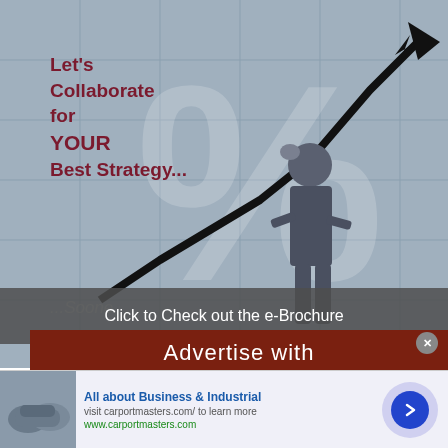[Figure (infographic): Business strategy infographic showing a woman standing before a large upward-trending line chart with a percent symbol in the background. Text overlay reads 'Let's Collaborate for YOUR Best Strategy...' in dark red. A semi-transparent gray tooltip bar reads 'Click to Check out the e-Brochure'. Below is a dark red banner reading 'Advertise with SOURCE'.]
Let's Collaborate for YOUR Best Strategy...
Click to Check out the e-Brochure
Advertise with
SOURCE
All about Business & Industrial
visit carportmasters.com/ to learn more
www.carportmasters.com